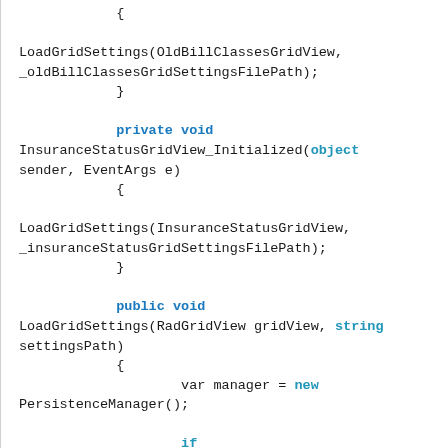{ LoadGridSettings(OldBillClassesGridView, _oldBillClassesGridSettingsFilePath); } private void InsuranceStatusGridView_Initialized(object sender, EventArgs e) { LoadGridSettings(InsuranceStatusGridView, _insuranceStatusGridSettingsFilePath); } public void LoadGridSettings(RadGridView gridView, string settingsPath) { var manager = new PersistenceManager(); if (!Directory.Exists(_bambooSettingsPath)) {